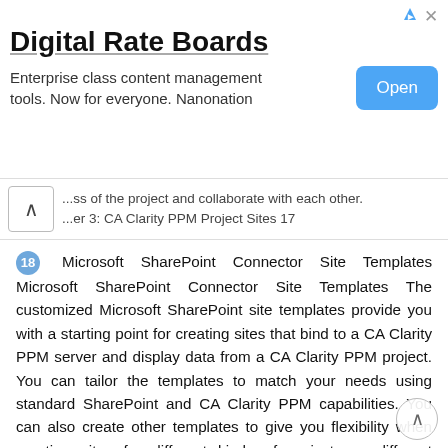[Figure (other): Advertisement banner for Digital Rate Boards by Nanonation with an Open button]
...ss of the project and collaborate with each other. ...er 3: CA Clarity PPM Project Sites 17
18 Microsoft SharePoint Connector Site Templates Microsoft SharePoint Connector Site Templates The customized Microsoft SharePoint site templates provide you with a starting point for creating sites that bind to a CA Clarity PPM server and display data from a CA Clarity PPM project. You can tailor the templates to match your needs using standard SharePoint and CA Clarity PPM capabilities. You can also create other templates to give you flexibility when creating sites for different kinds of projects or different communities. Use the template to create sites named CA Clarity PPM project sites. To create or modify CA Clarity PPM project sites, add and remove CA Clarity PPM Web Parts or other standard, custom, and third-party Web Parts. For the same purpose, you can also use other templates created by modifying the existing